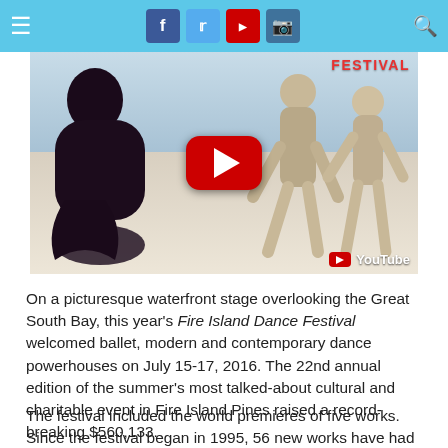[Figure (screenshot): Navigation bar with hamburger menu icon on left, social media icons (Facebook, Twitter, YouTube, Instagram) in center-right, and search icon on far right, on a light blue background]
[Figure (photo): YouTube video thumbnail showing dancers performing on a waterfront stage. A dancer in a black cape/dress on the left, two dancers in light grey clothing on the right. A large red YouTube play button in the center. 'FESTIVAL' text in red upper right corner. YouTube watermark bottom right.]
On a picturesque waterfront stage overlooking the Great South Bay, this year’s Fire Island Dance Festival welcomed ballet, modern and contemporary dance powerhouses on July 15-17, 2016. The 22nd annual edition of the summer’s most talked-about cultural and charitable event in Fire Island Pines raised a record-breaking $560,133.
The festival included the world premieres of five works. Since the festival began in 1995, 56 new works have had their premieres at Fire Island Dance Festival.